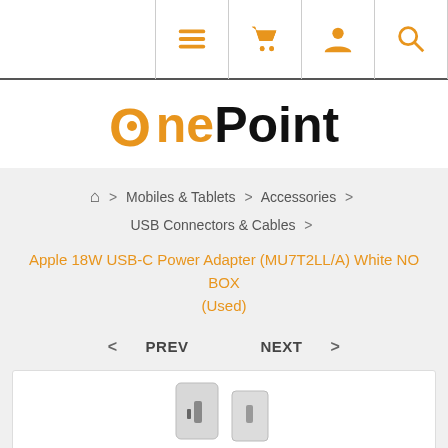Navigation bar with menu, cart, account, and search icons
[Figure (logo): OnePoint logo with orange circle O and bold black text Point]
Home > Mobiles & Tablets > Accessories > USB Connectors & Cables >
Apple 18W USB-C Power Adapter (MU7T2LL/A) White NO BOX (Used)
< PREV   NEXT >
[Figure (photo): Apple 18W USB-C Power Adapter product photo showing white adapter]